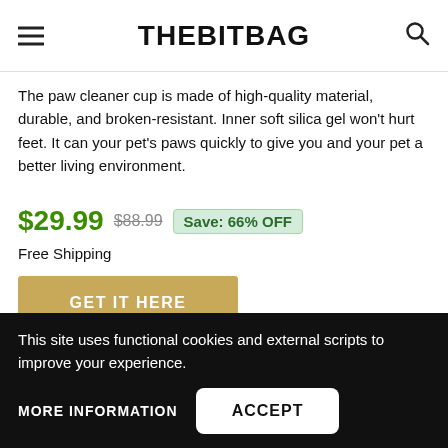THEBITBAG
The paw cleaner cup is made of high-quality material, durable, and broken-resistant. Inner soft silica gel won't hurt feet. It can your pet's paws quickly to give you and your pet a better living environment.
$29.99  $88.99  Save: 66% OFF
Free Shipping
GET IT HERE
This site uses functional cookies and external scripts to improve your experience.
MORE INFORMATION
ACCEPT